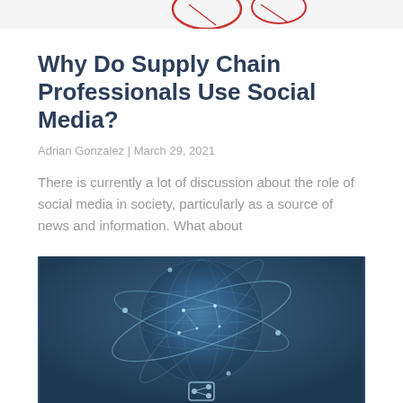[Figure (illustration): Partial top image with red/white design elements visible at top of page]
Why Do Supply Chain Professionals Use Social Media?
Adrian Gonzalez | March 29, 2021
There is currently a lot of discussion about the role of social media in society, particularly as a source of news and information. What about
[Figure (illustration): Dark blue background with a glowing globe/earth illustration showing network connections and orbital rings, with a small icon at the bottom]